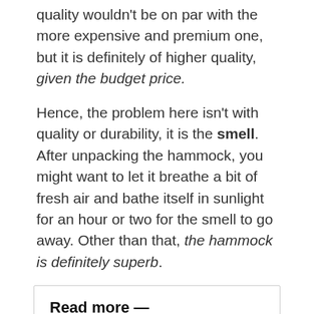quality wouldn't be on par with the more expensive and premium one, but it is definitely of higher quality, given the budget price.
Hence, the problem here isn't with quality or durability, it is the smell. After unpacking the hammock, you might want to let it breathe a bit of fresh air and bathe itself in sunlight for an hour or two for the smell to go away. Other than that, the hammock is definitely superb.
Read more —
Complete Guide to the Best Hammock